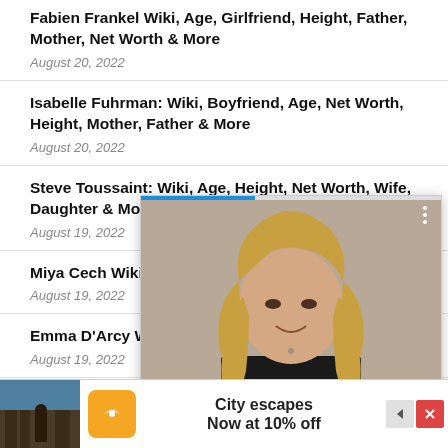Fabien Frankel Wiki, Age, Girlfriend, Height, Father, Mother, Net Worth & More
August 20, 2022
Isabelle Fuhrman: Wiki, Boyfriend, Age, Net Worth, Height, Mother, Father & More
August 20, 2022
Steve Toussaint: Wiki, Age, Height, Net Worth, Wife, Daughter & More
August 19, 2022
Miya Cech Wiki, ... More
August 19, 2022
Emma D'Arcy W... More
August 19, 2022
YaYa... hool &
[Figure (photo): Popup overlay showing a woman with blonde hair in a black outfit, with a progress bar at top, three-dots menu, a blue arrow navigation button, a blue dot indicator, and a Close X button.]
[Figure (infographic): Advertisement banner at bottom: city photo thumbnail on left, orange icon with airplane, text 'City escapes Now at 10% off', and ad control buttons on right.]